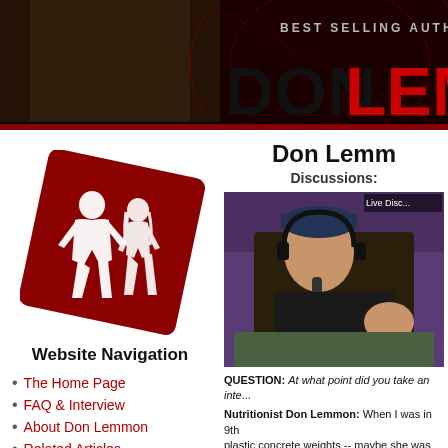[Figure (screenshot): Website header banner with dark red/brown background, sepia-toned fitness model image on left, 'BEST SELLING AUTHOR & WR...' text, and large 'DON LEMMO...' logo text in black and red]
[Figure (logo): Don Lemmon website logo: dark red rotated square with white silhouettes of muscular male and female figures]
Website Navigation
The Home Page
FAQ & Interview
About Don Lemmon
Related Articles
Blog & Updates
Exercise Instruction
KNOW HOW Books
Don Lemm...
Discussions:
[Figure (photo): Photo of Don Lemmon wearing a cap and headphones, speaking into a microphone while seated on a sofa, in what appears to be a recording studio with purple acoustic foam in background. 'Live Disc...' text overlay in corner.]
QUESTION: At what point did you take an inte...
Nutritionist Don Lemmon: When I was in 9th... plastic concrete weights -- maybe she was tryi... surprised her right back by using my bench as... weightlifting by then. I was more into martial a...